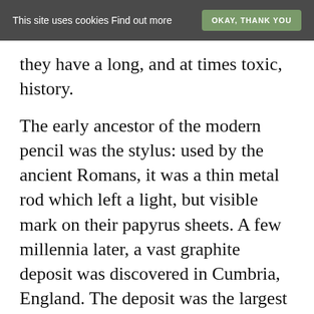This site uses cookies Find out more   OKAY, THANK YOU
they have a long, and at times toxic, history.
The early ancestor of the modern pencil was the stylus: used by the ancient Romans, it was a thin metal rod which left a light, but visible mark on their papyrus sheets. A few millennia later, a vast graphite deposit was discovered in Cumbria, England. The deposit was the largest and purest source of graphite found in the 1500's- and thus, the production of the pencil was set into action. At the time, graphite sticks with sharpened ends were used as writing